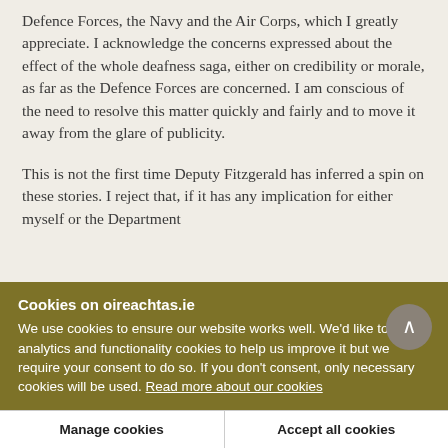Defence Forces, the Navy and the Air Corps, which I greatly appreciate. I acknowledge the concerns expressed about the effect of the whole deafness saga, either on credibility or morale, as far as the Defence Forces are concerned. I am conscious of the need to resolve this matter quickly and fairly and to move it away from the glare of publicity.
This is not the first time Deputy Fitzgerald has inferred a spin on these stories. I reject that, if it has any implication for either myself or the Department
Cookies on oireachtas.ie
We use cookies to ensure our website works well. We'd like to use analytics and functionality cookies to help us improve it but we require your consent to do so. If you don't consent, only necessary cookies will be used. Read more about our cookies
Manage cookies
Accept all cookies